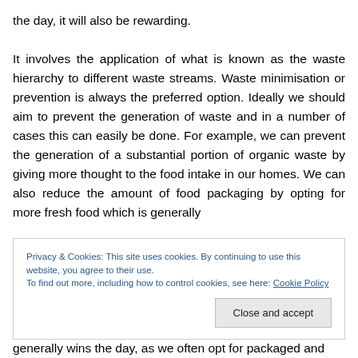the day, it will also be rewarding.

It involves the application of what is known as the waste hierarchy to different waste streams. Waste minimisation or prevention is always the preferred option. Ideally we should aim to prevent the generation of waste and in a number of cases this can easily be done. For example, we can prevent the generation of a substantial portion of organic waste by giving more thought to the food intake in our homes. We can also reduce the amount of food packaging by opting for more fresh food which is generally
Privacy & Cookies: This site uses cookies. By continuing to use this website, you agree to their use.
To find out more, including how to control cookies, see here: Cookie Policy
generally wins the day, as we often opt for packaged and